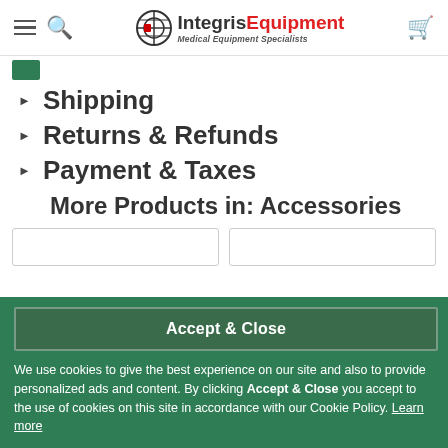IntegrisEquipment Medical Equipment Specialists
Shipping
Returns & Refunds
Payment & Taxes
More Products in: Accessories
Accept & Close
We use cookies to give the best experience on our site and also to provide personalized ads and content. By clicking Accept & Close you accept to the use of cookies on this site in accordance with our Cookie Policy. Learn more